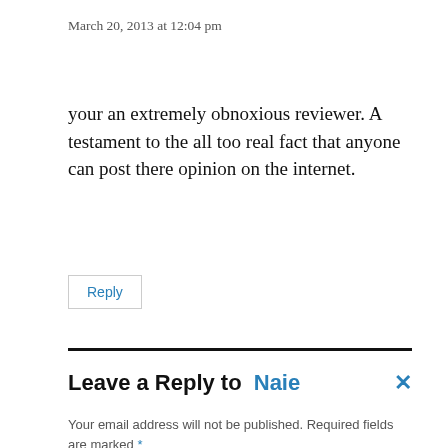March 20, 2013 at 12:04 pm
your an extremely obnoxious reviewer. A testament to the all too real fact that anyone can post there opinion on the internet.
Reply
Leave a Reply to Naie ×
Your email address will not be published. Required fields are marked *
COMMENT